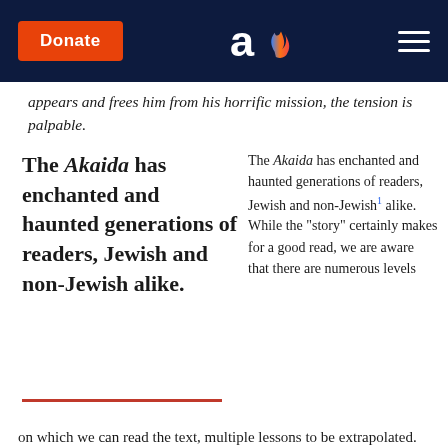Donate | Aish logo | Menu
appears and frees him from his horrific mission, the tension is palpable.
The Akaida has enchanted and haunted generations of readers, Jewish and non-Jewish alike.
The Akaida has enchanted and haunted generations of readers, Jewish and non-Jewish¹ alike. While the "story" certainly makes for a good read, we are aware that there are numerous levels on which we can read the text, multiple lessons to be extrapolated.